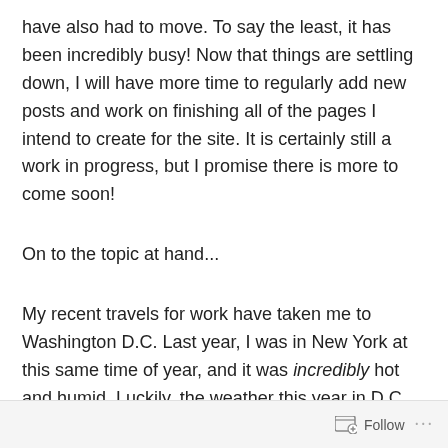have also had to move. To say the least, it has been incredibly busy! Now that things are settling down, I will have more time to regularly add new posts and work on finishing all of the pages I intend to create for the site. It is certainly still a work in progress, but I promise there is more to come soon!
On to the topic at hand...
My recent travels for work have taken me to Washington D.C. Last year, I was in New York at this same time of year, and it was incredibly hot and humid. Luckily, the weather this year in D.C. was really mild, and actually quite enjoyable (I dare to say it was even better than the weather has been in California the past few weeks).
Follow